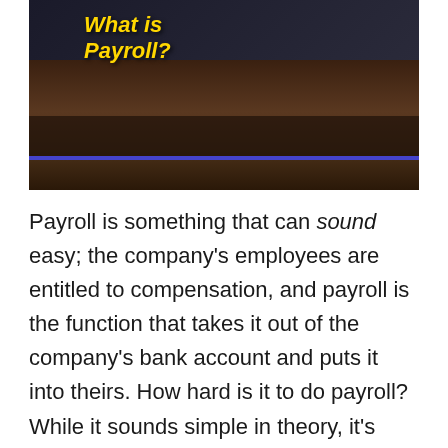[Figure (photo): Photo of a person at a desk, overlaid with yellow bold italic text reading 'What is Payroll?' with a blue horizontal bar across the lower portion of the image.]
Payroll is something that can sound easy; the company's employees are entitled to compensation, and payroll is the function that takes it out of the company's bank account and puts it into theirs. How hard is it to do payroll? While it sounds simple in theory, it's actually one of the more complex administrative tasks within an organization.
And that's true whether there are five or fifty